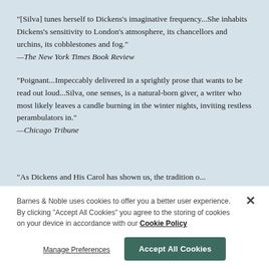"[Silva] tunes herself to Dickens's imaginative frequency...She inhabits Dickens's sensitivity to London's atmosphere, its chancellors and urchins, its cobblestones and fog." —The New York Times Book Review
"Poignant...Impeccably delivered in a sprightly prose that wants to be read out loud...Silva, one senses, is a natural-born giver, a writer who most likely leaves a candle burning in the winter nights, inviting restless perambulators in." —Chicago Tribune
"As Dickens and His Carol has shown us, the tradition...
Barnes & Noble uses cookies to offer you a better user experience. By clicking "Accept All Cookies" you agree to the storing of cookies on your device in accordance with our Cookie Policy